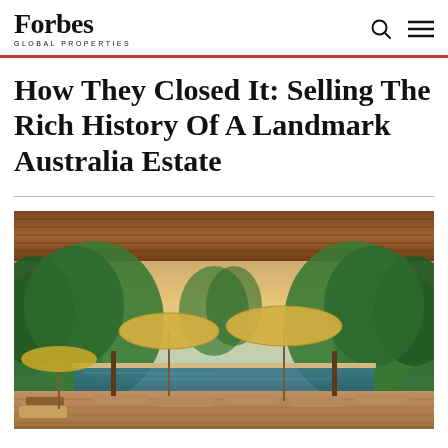Forbes GLOBAL PROPERTIES
How They Closed It: Selling The Rich History Of A Landmark Australia Estate
[Figure (photo): Luxury outdoor pool area with yellow market umbrellas, lounge chairs on a wooden deck, surrounded by lush tropical green forest with a sunset sky in the background, viewed from under a wooden slatted roof overhang.]